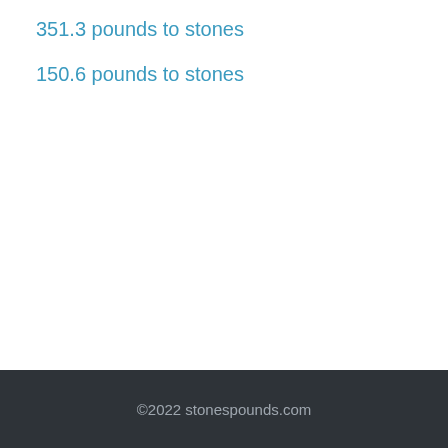351.3 pounds to stones
150.6 pounds to stones
©2022 stonespounds.com